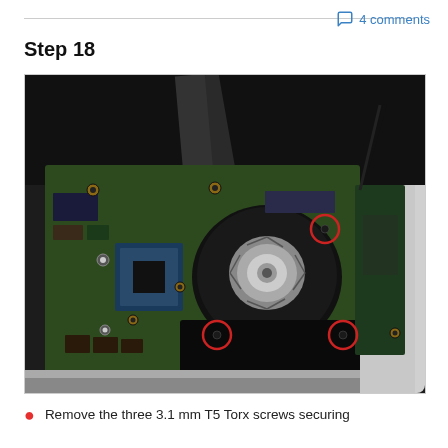4 comments
Step 18
[Figure (photo): Interior view of a MacBook logic board showing the fan assembly, CPU/GPU chip, and various connectors. Three red circle annotations mark the locations of T5 Torx screws securing the fan — one near the top center of the fan and two at the bottom left and bottom right of the fan housing.]
Remove the three 3.1 mm T5 Torx screws securing